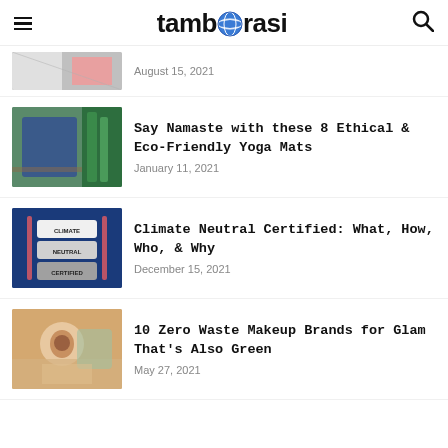tamborasi
August 15, 2021
Say Namaste with these 8 Ethical & Eco-Friendly Yoga Mats
January 11, 2021
Climate Neutral Certified: What, How, Who, & Why
December 15, 2021
10 Zero Waste Makeup Brands for Glam That's Also Green
May 27, 2021